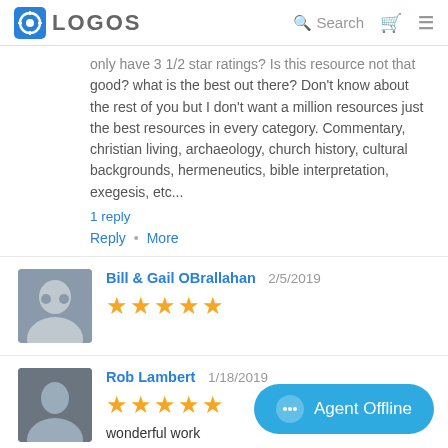LOGOS | Search
only have 3 1/2 star ratings? Is this resource not that good? what is the best out there? Don't know about the rest of you but I don't want a million resources just the best resources in every category. Commentary, christian living, archaeology, church history, cultural backgrounds, hermeneutics, bible interpretation, exegesis, etc...
1 reply
Reply • More
Bill & Gail OBrallahan  2/5/2019  ★★★★★
Rob Lambert  1/18/2019  ★★★★★
wonderful work
Reply • More
Agent Offline